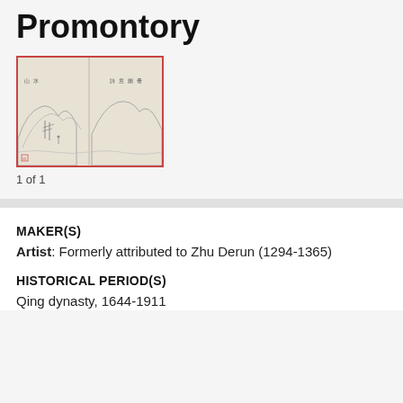Promontory
[Figure (illustration): Thumbnail image of a Chinese landscape painting showing mountains, trees, and calligraphic text, bordered in red/pink.]
1 of 1
MAKER(S)
Artist: Formerly attributed to Zhu Derun (1294-1365)
HISTORICAL PERIOD(S)
Qing dynasty, 1644-1911